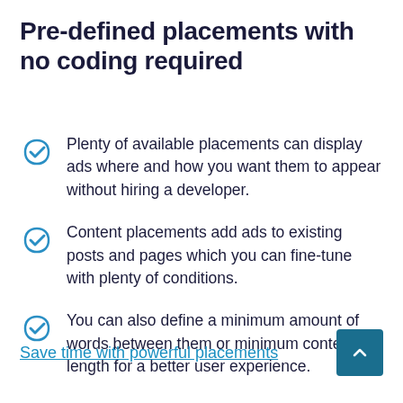Pre-defined placements with no coding required
Plenty of available placements can display ads where and how you want them to appear without hiring a developer.
Content placements add ads to existing posts and pages which you can fine-tune with plenty of conditions.
You can also define a minimum amount of words between them or minimum content length for a better user experience.
Save time with powerful placements